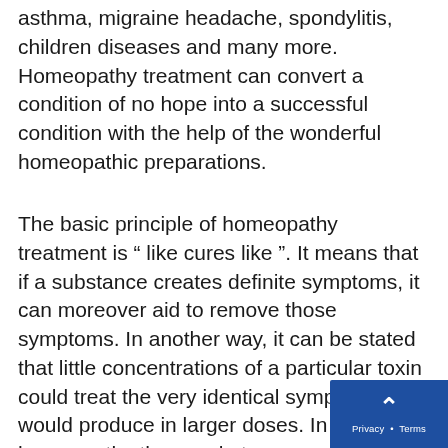asthma, migraine headache, spondylitis, children diseases and many more. Homeopathy treatment can convert a condition of no hope into a successful condition with the help of the wonderful homeopathic preparations.
The basic principle of homeopathy treatment is “ like cures like ”. It means that if a substance creates definite symptoms, it can moreover aid to remove those symptoms. In another way, it can be stated that little concentrations of a particular toxin could treat the very identical symptoms it would produce in larger doses. In homeopathy these substances are acquired from different parts of several plants; from minerals such as gold, silver etc.; from chemicals like sulphuric and nitric acid; various biological materials are collected from animals using nonviolent procedures.
A minuscule portion of these natural substances is then combined with distilled water or alcohol. The liquid mixture is then shaken vigorously. This step is known as potentization which is responsible for transferring healing actions. The concentration of the basic